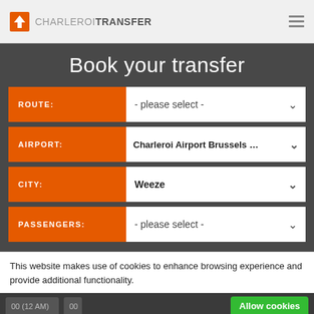CHARLEROI TRANSFER
Book your transfer
ROUTE: - please select -
AIRPORT: Charleroi Airport Brussels So
CITY: Weeze
PASSENGERS: - please select -
This website makes use of cookies to enhance browsing experience and provide additional functionality.
Allow cookies